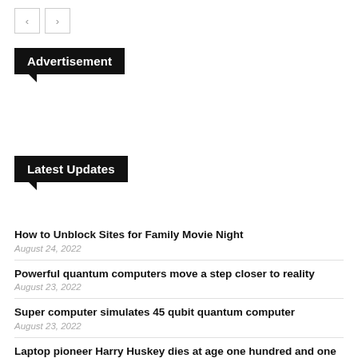[Figure (other): Navigation previous/next arrow buttons]
Advertisement
Latest Updates
How to Unblock Sites for Family Movie Night
August 24, 2022
Powerful quantum computers move a step closer to reality
August 23, 2022
Super computer simulates 45 qubit quantum computer
August 23, 2022
Laptop pioneer Harry Huskey dies at age one hundred and one
August 23, 2022